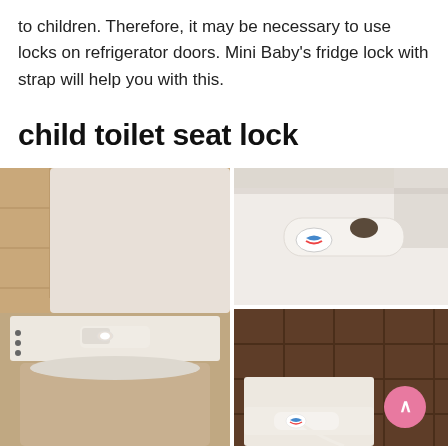to children. Therefore, it may be necessary to use locks on refrigerator doors. Mini Baby's fridge lock with strap will help you with this.
child toilet seat lock
[Figure (photo): Three photos of a child toilet seat lock installed on a toilet. Left: wide shot showing the white lock device on the toilet seat lid in a bathroom with brown/tan tiles. Top right: close-up of the white lock device lying on white surface, showing a small colorful logo button. Bottom right: another view of the device on a toilet in a bathroom with dark brown square tiles, with a pink scroll-up button overlay in the bottom right corner.]